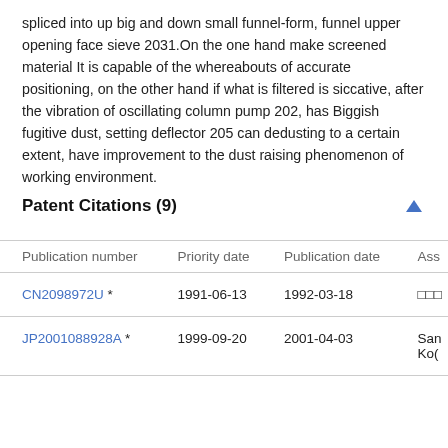spliced into up big and down small funnel-form, funnel upper opening face sieve 2031.On the one hand make screened material It is capable of the whereabouts of accurate positioning, on the other hand if what is filtered is siccative, after the vibration of oscillating column pump 202, has Biggish fugitive dust, setting deflector 205 can dedusting to a certain extent, have improvement to the dust raising phenomenon of working environment.
Patent Citations (9)
| Publication number | Priority date | Publication date | Ass |
| --- | --- | --- | --- |
| CN2098972U * | 1991-06-13 | 1992-03-18 | □□□ |
| JP2001088928A * | 1999-09-20 | 2001-04-03 | San
Ko( |